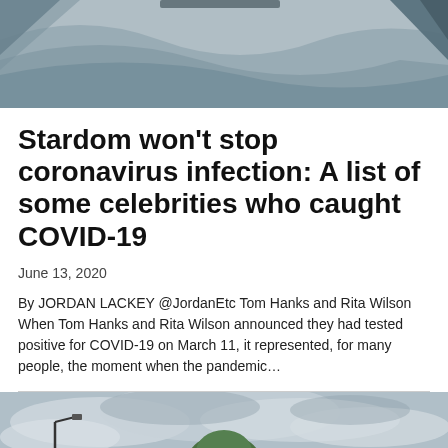[Figure (illustration): Abstract banner image with grey and blue wave shapes on a light background with triangular graphic elements]
Stardom won't stop coronavirus infection: A list of some celebrities who caught COVID-19
June 13, 2020
By JORDAN LACKEY @JordanEtc Tom Hanks and Rita Wilson When Tom Hanks and Rita Wilson announced they had tested positive for COVID-19 on March 11, it represented, for many people, the moment when the pandemic…
[Figure (photo): Outdoor photograph showing a street lamp, trees, and an overcast cloudy sky]